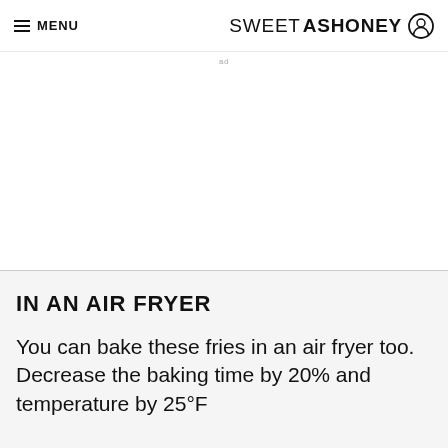MENU | SWEETASHONEY
[Figure (other): White advertisement placeholder area with small 'ad' label at top center]
IN AN AIR FRYER
You can bake these fries in an air fryer too. Decrease the baking time by 20% and temperature by 25°F